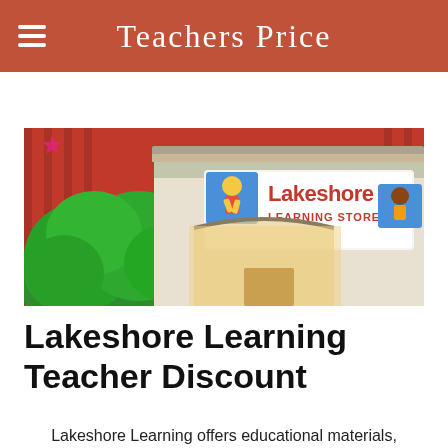Teachers Price
[Figure (photo): Exterior storefront illustration of Lakeshore Learning Store with green bushes, red background, and store signage featuring cartoon children mascots]
Lakeshore Learning Teacher Discount
Lakeshore Learning offers educational materials,